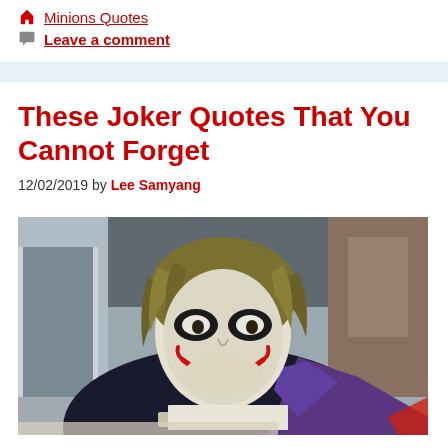Minions Quotes
Leave a comment
These Joker Quotes That You Cannot Forget
12/02/2019 by Lee Samyang
[Figure (photo): Photo/illustration of the Joker character from The Dark Knight, showing a man with white face paint and red makeup around his mouth, messy greenish-blonde hair, wearing a purple suit jacket, looking down while writing or reading something.]